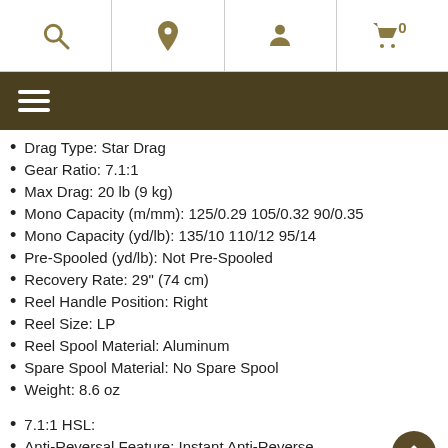Navigation bar with search, location, user, and cart icons
Drag Type: Star Drag
Gear Ratio: 7.1:1
Max Drag: 20 lb (9 kg)
Mono Capacity (m/mm): 125/0.29 105/0.32 90/0.35
Mono Capacity (yd/lb): 135/10 110/12 95/14
Pre-Spooled (yd/lb): Not Pre-Spooled
Recovery Rate: 29" (74 cm)
Reel Handle Position: Right
Reel Size: LP
Reel Spool Material: Aluminum
Spare Spool Material: No Spare Spool
Weight: 8.6 oz
7.1:1 HSL:
Anti-Reversal Feature: Instant Anti-Reverse